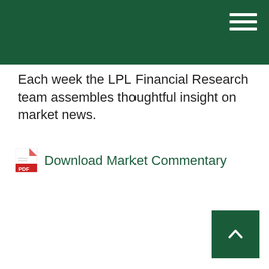Each week the LPL Financial Research team assembles thoughtful insight on market news.
Download Market Commentary